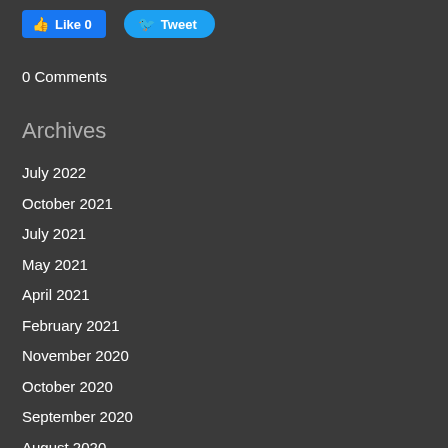[Figure (other): Facebook Like button (blue, count 0) and Twitter Tweet button (blue, bird icon)]
0 Comments
Archives
July 2022
October 2021
July 2021
May 2021
April 2021
February 2021
November 2020
October 2020
September 2020
August 2020
July 2020
June 2020
October 2019
August 2019
June 2019